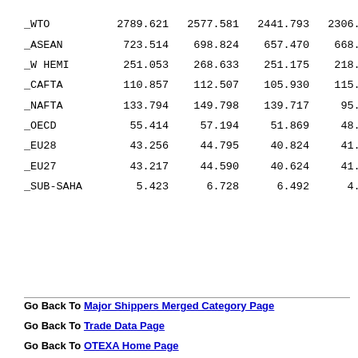| _WTO | 2789.621 | 2577.581 | 2441.793 | 2306.010 |
| _ASEAN | 723.514 | 698.824 | 657.470 | 668.887 |
| _W HEMI | 251.053 | 268.633 | 251.175 | 218.815 |
| _CAFTA | 110.857 | 112.507 | 105.930 | 115.914 |
| _NAFTA | 133.794 | 149.798 | 139.717 | 95.000 |
| _OECD | 55.414 | 57.194 | 51.869 | 48.914 |
| _EU28 | 43.256 | 44.795 | 40.824 | 41.822 |
| _EU27 | 43.217 | 44.590 | 40.624 | 41.776 |
| _SUB-SAHA | 5.423 | 6.728 | 6.492 | 4.337 |
Go Back To Major Shippers Merged Category Page
Go Back To Trade Data Page
Go Back To OTEXA Home Page